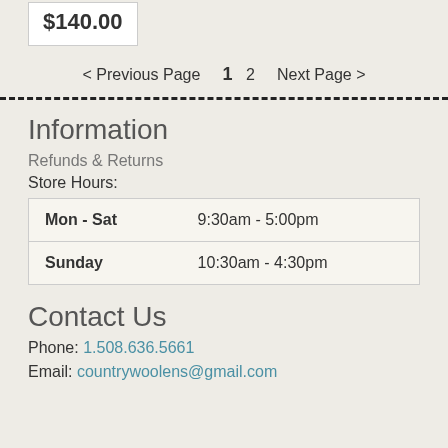$140.00
< Previous Page   1  2   Next Page >
Information
Refunds & Returns
Store Hours:
| Day | Hours |
| --- | --- |
| Mon - Sat | 9:30am - 5:00pm |
| Sunday | 10:30am - 4:30pm |
Contact Us
Phone: 1.508.636.5661
Email: countrywoolens@gmail.com